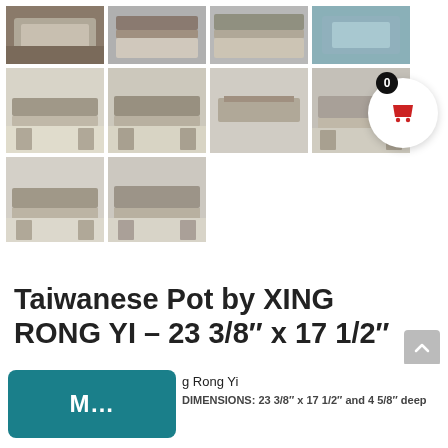[Figure (photo): Grid of product thumbnail photos showing a Taiwanese decorative pot from multiple angles. Row 1: 4 thumbnails (top views). Row 2: 4 thumbnails (side detail views). Row 3: 2 thumbnails (additional angle views).]
Taiwanese Pot by XING RONG YI – 23 3/8″ x 17 1/2″
M...
g Rong Yi
DIMENSIONS: 23 3/8″ x 17 1/2″ and 4 5/8″ deep